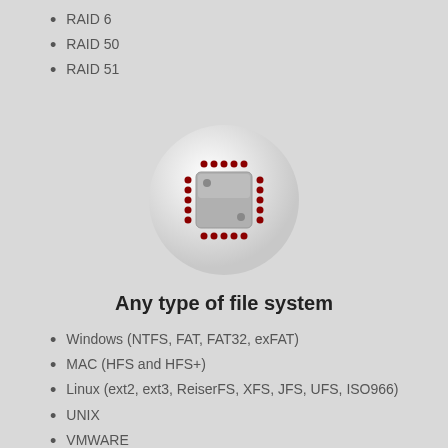RAID 6
RAID 50
RAID 51
[Figure (illustration): Chip/microprocessor icon with red dotted border inside a white circular background]
Any type of file system
Windows (NTFS, FAT, FAT32, exFAT)
MAC (HFS and HFS+)
Linux (ext2, ext3, ReiserFS, XFS, JFS, UFS, ISO966)
UNIX
VMWARE
HYPER-V
Legacy operating systems (Pick, Novell NetWare, )